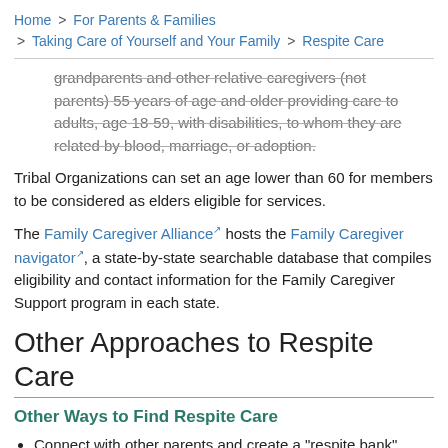Home > For Parents & Families > Taking Care of Yourself and Your Family > Respite Care
grandparents and other relative caregivers (not parents) 55 years of age and older providing care to adults, age 18-59, with disabilities, to whom they are related by blood, marriage, or adoption.
Tribal Organizations can set an age lower than 60 for members to be considered as elders eligible for services.
The Family Caregiver Alliance hosts the Family Caregiver navigator, a state-by-state searchable database that compiles eligibility and contact information for the Family Caregiver Support program in each state.
Other Approaches to Respite Care
Other Ways to Find Respite Care
Connect with other parents and create a "respite bank" between families, taking turns helping each other out.
Hire aides from your child's school or Early Intervention program. Many times, these trained workers, who